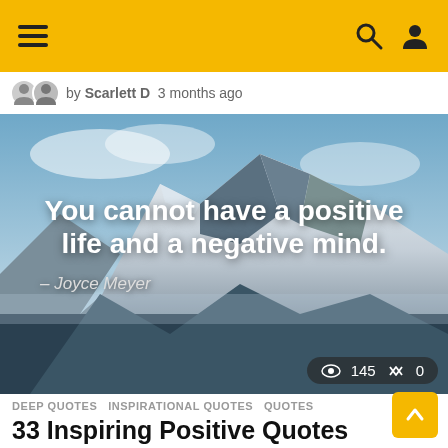Navigation bar with hamburger menu, search and user icons
by Scarlett D  3 months ago
[Figure (photo): Snow-capped mountain peak with quote overlay: 'You cannot have a positive life and a negative mind.' – Joyce Meyer. Stats overlay showing 145 views and 0 shares.]
DEEP QUOTES   INSPIRATIONAL QUOTES   QUOTES
33 Inspiring Positive Quotes For The Negative Minds
There is always a balance in the universe. Nothing is 100% negative or positive. So when you are facing y...